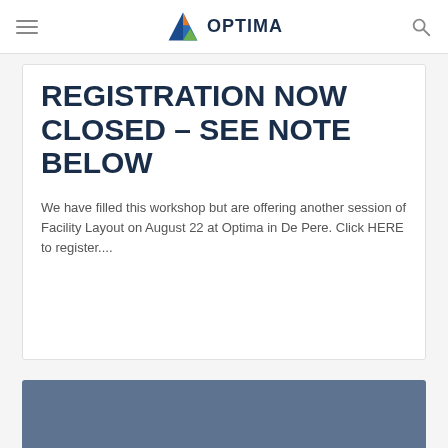OPTIMA
REGISTRATION NOW CLOSED – SEE NOTE BELOW
We have filled this workshop but are offering another session of Facility Layout on August 22 at Optima in De Pere. Click HERE to register....
[Figure (other): Blue-grey decorative banner block at bottom of page]